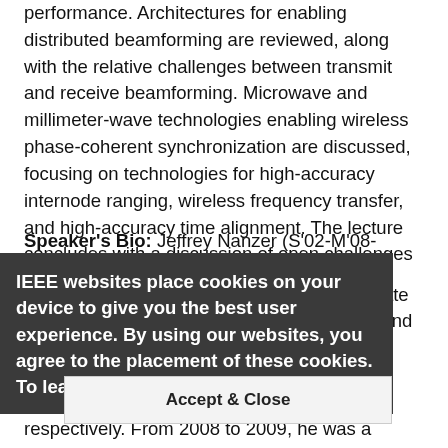performance. Architectures for enabling distributed beamforming are reviewed, along with the relative challenges between transmit and receive beamforming. Microwave and millimeter-wave technologies enabling wireless phase-coherent synchronization are discussed, focusing on technologies for high-accuracy internode ranging, wireless frequency transfer, and high-accuracy time alignment. The lecture concludes with a discussion of open challenges in distributed phased arrays, and where microwave technologies may play a role.
Speaker's Bio: Jeffrey Nanzer (S'02-M'08-SM'14) received the B.S. degree in electrical and computer engineering from Michigan State University, East Lansing, MI, USA, in 2003, and the M.S. and Ph.D. degrees in electrical engineering from The University of Texas at Austin, Austin, TX, USA, in 2005 and 2008, respectively. From 2008 to 2009, he was a Postdoctoral Fellow with Applied Research Laboratories, The University of Texas at Austin, where he was involved in designing electrically small HF antennas and communication systems. From 2009 to 2016, he was with The Johns Hopkins University Applied Physics Laboratory, Laurel, MD, USA, where he created and led the Advanced Microwave and Millimeter-Wave Technology Section. In 2016, he
IEEE websites place cookies on your device to give you the best user experience. By using our websites, you agree to the placement of these cookies. To learn more, read our Privacy Policy.
Accept & Close